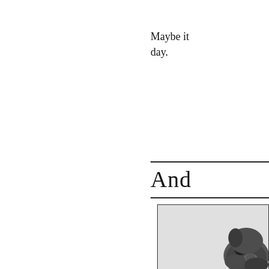Maybe it day.
And
[Figure (illustration): Black and white illustration of an animal (appears to be a dog or similar creature), partially visible in the bottom right corner of the page within a bordered box.]